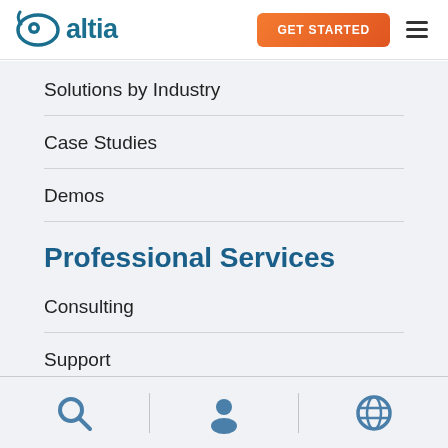altia — GET STARTED
Solutions by Industry
Case Studies
Demos
Professional Services
Consulting
Support
Training
[Figure (infographic): Bottom navigation icon bar with three icons: search (magnifying glass), user (person silhouette), and globe/language icon, separated by vertical dividers]